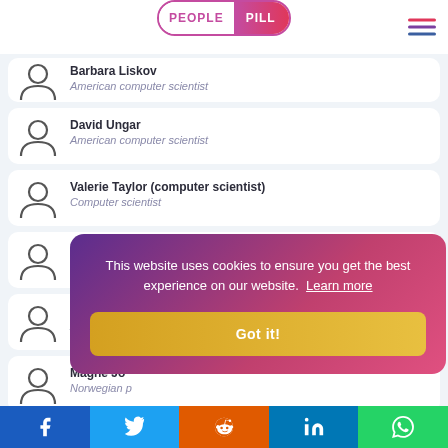PEOPLE PILL
Barbara Liskov — American computer scientist
David Ungar — American computer scientist
Valerie Taylor (computer scientist) — Computer scientist
David Harel — Israeli computer scientist
Robert L. G... — American soft...
Magne Jo... — Norwegian p...
This website uses cookies to ensure you get the best experience on our website. Learn more
Facebook Twitter Reddit LinkedIn WhatsApp